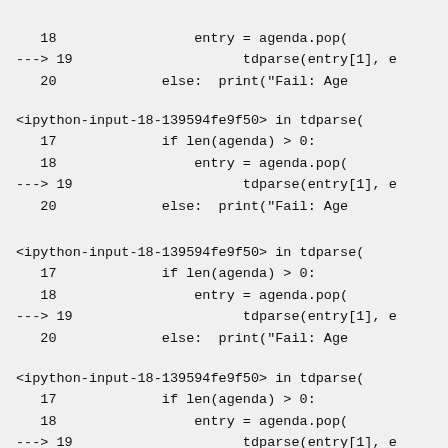18                 entry = agenda.pop(
---> 19                     tdparse(entry[1], e
   20             else:  print("Fail: Age
<ipython-input-18-139594fe9f50> in tdparse(
   17             if len(agenda) > 0:
   18                 entry = agenda.pop(
---> 19                     tdparse(entry[1], e
   20             else:  print("Fail: Age
<ipython-input-18-139594fe9f50> in tdparse(
   17             if len(agenda) > 0:
   18                 entry = agenda.pop(
---> 19                     tdparse(entry[1], e
   20             else:  print("Fail: Age
<ipython-input-18-139594fe9f50> in tdparse(
   17             if len(agenda) > 0:
   18                 entry = agenda.pop(
---> 19                     tdparse(entry[1], e
   20             else:  print("Fail: Age